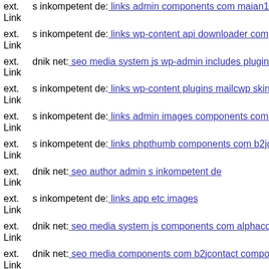ext. Link s inkompetent de: links admin components com maian15 charts
ext. Link s inkompetent de: links wp-content api downloader components
ext. Link dnik net: seo media system js wp-admin includes plugins user i
ext. Link s inkompetent de: links wp-content plugins mailcwp skin 1661
ext. Link s inkompetent de: links admin images components com b2jcon
ext. Link s inkompetent de: links phpthumb components com b2jcontact
ext. Link dnik net: seo author admin s inkompetent de
ext. Link s inkompetent de: links app etc images
ext. Link dnik net: seo media system js components com alphacontent as
ext. Link dnik net: seo media components com b2jcontact components co
ext. Link s inkompetent de: links user login images dnik net